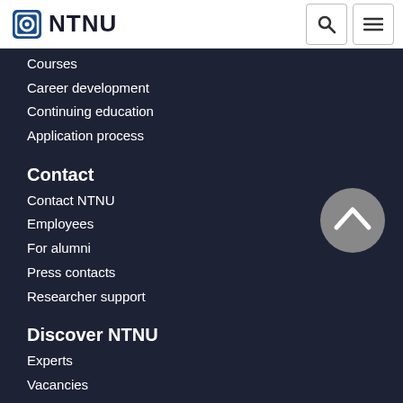NTNU
Courses
Career development
Continuing education
Application process
Contact
Contact NTNU
Employees
For alumni
Press contacts
Researcher support
Discover NTNU
Experts
Vacancies
Pictures from NTNU
Innovation resources